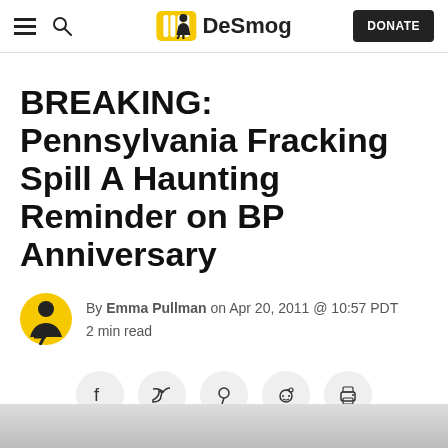DeSmog navigation bar with hamburger menu, search icon, DeSmog logo, and DONATE button
BREAKING: Pennsylvania Fracking Spill A Haunting Reminder on BP Anniversary
By Emma Pullman on Apr 20, 2011 @ 10:57 PDT
2 min read
[Figure (infographic): Social sharing buttons row: Facebook, Twitter, Pinterest, Reddit, Print]
[Figure (photo): Partial image strip at bottom of page, appears to be a photo, mostly cut off]